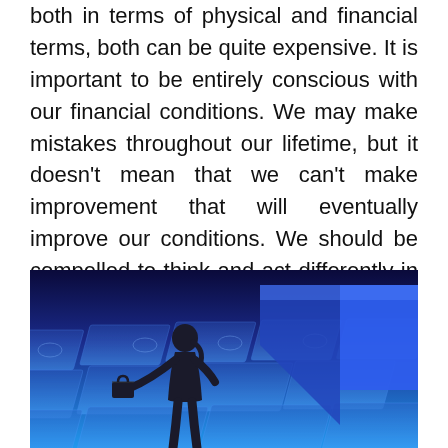both in terms of physical and financial terms, both can be quite expensive. It is important to be entirely conscious with our financial conditions. We may make mistakes throughout our lifetime, but it doesn't mean that we can't make improvement that will eventually improve our conditions. We should be compelled to think and act differently in our lives.
[Figure (illustration): A silhouette of a person (businesswoman with briefcase) standing in front of a large blue upward arrow, overlaid on a background of currency bills in blue tones. The top portion of the image fades from dark navy to bright blue.]